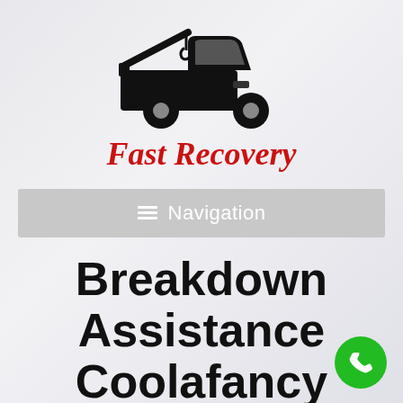[Figure (illustration): Black silhouette icon of a tow truck facing right with crane arm raised]
Fast Recovery
Navigation
Breakdown Assistance Coolafancy
[Figure (illustration): Green circular phone call button with white handset icon]